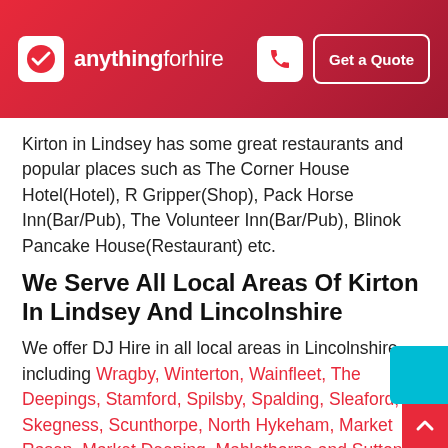anythingforhire — Get a Quote
Kirton in Lindsey has some great restaurants and popular places such as The Corner House Hotel(Hotel), R Gripper(Shop), Pack Horse Inn(Bar/Pub), The Volunteer Inn(Bar/Pub), Blinok Pancake House(Restaurant) etc.
We Serve All Local Areas Of Kirton In Lindsey And Lincolnshire
We offer DJ Hire in all local areas in Lincolnshire including Wragby, Winterton, Wainfleet, The Deepings, Stamford, Spilsby, Spalding, Sleaford, Skegness, Scunthorpe, North Hykeham, Market Rasen, Market Deeping, Mablethorpe and Sutton, Mablethorpe, Louth, Long Sutton, Little Coates, Lincoln, Kirton in Lindsey, Immingham, Horncastle, Holbeach, Grimsby, Grantham,